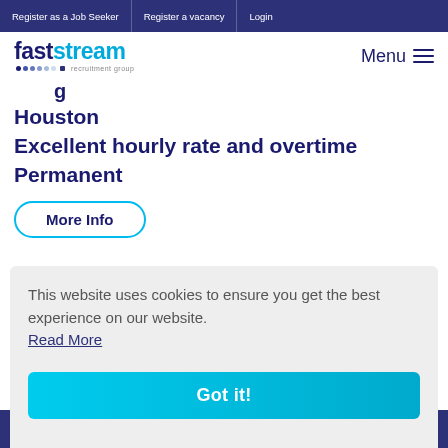Register as a Job Seeker | Register a vacancy | Login
[Figure (logo): Faststream recruitment group logo with fast in dark navy and stream in blue, with colored dots and 'recruitment group' subtitle]
Menu
Houston
Excellent hourly rate and overtime
Permanent
More Info
< Ba
This website uses cookies to ensure you get the best experience on our website. Read More
Got it!
Are you lost?